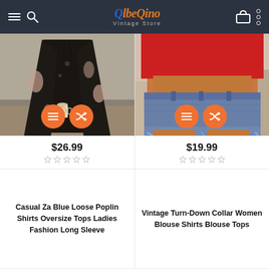beQino Vintage Store
[Figure (photo): Person wearing a black floral kimono/cardigan over black outfit, holding a coffee cup]
$26.99
[Figure (photo): Person wearing a red crop top and denim cutoff shorts]
$19.99
Casual Za Blue Loose Poplin Shirts Oversize Tops Ladies Fashion Long Sleeve
Vintage Turn-Down Collar Women Blouse Shirts Blouse Tops